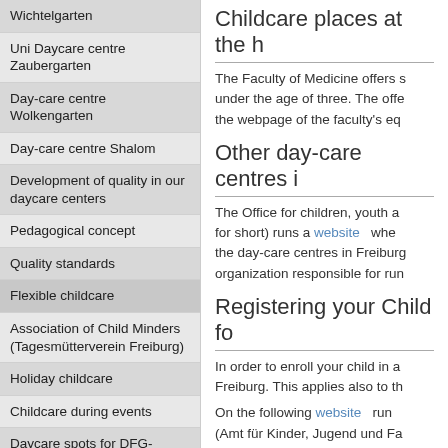Wichtelgarten
Uni Daycare centre Zaubergarten
Day-care centre Wolkengarten
Day-care centre Shalom
Development of quality in our daycare centers
Pedagogical concept
Quality standards
Flexible childcare
Association of Child Minders (Tagesmütterverein Freiburg)
Holiday childcare
Childcare during events
Daycare spots for DFG-funded research groups
Elementary School (1st - 4th Grade)
Secondary School (5th grade and up)
Childcare places at the h
The Faculty of Medicine offers s under the age of three. The offe the webpage of the faculty's eq
Other day-care centres i
The Office for children, youth a for short) runs a website whe the day-care centres in Freiburg organization responsible for run
Registering your Child fo
In order to enroll your child in a Freiburg. This applies also to th
On the following website run (Amt für Kinder, Jugend und Fa
On this website, you can also a you enter one or several of the